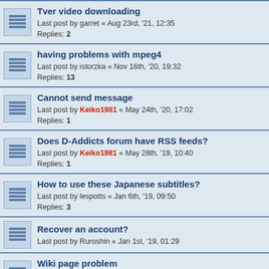Tver video downloading
Last post by garret « Aug 23rd, '21, 12:35
Replies: 2
having problems with mpeg4
Last post by istorzka « Nov 16th, '20, 19:32
Replies: 13
Cannot send message
Last post by Keiko1981 « May 24th, '20, 17:02
Replies: 1
Does D-Addicts forum have RSS feeds?
Last post by Keiko1981 « May 28th, '19, 10:40
Replies: 1
How to use these Japanese subtitles?
Last post by lespotts « Jan 6th, '19, 09:50
Replies: 3
Recover an account?
Last post by Ruroshin « Jan 1st, '19, 01:29
Wiki page problem
Last post by itsmelue « Oct 25th, '18, 14:08
Replies: 3
Aegisub 2.1.8 support for x265?
Last post by RetroHelix « Jun 4th, '18, 15:31
Replies: 1
How to download videos from torrents?
Last post by Keiko1981 « May 30th, '18, 20:19
Replies: 1
How to download subtitles / Rip Videos
Last post by TrthHrtz « Nov 9th, '17, 17:50
Replies: 51
Help needed with markdown code at new Nyaa